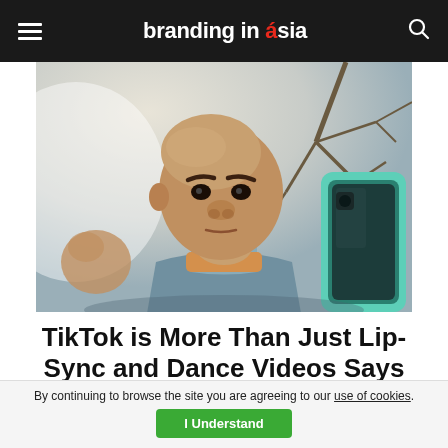branding in asia
[Figure (photo): A man wearing a gray apron looking at a smartphone, photographed outdoors with trees in the background. The man appears to be of Pacific Islander descent with a shaved head.]
TikTok is More Than Just Lip-Sync and Dance Videos Says Brand Campaign
AUG 17, 2022
By continuing to browse the site you are agreeing to our use of cookies.
I Understand